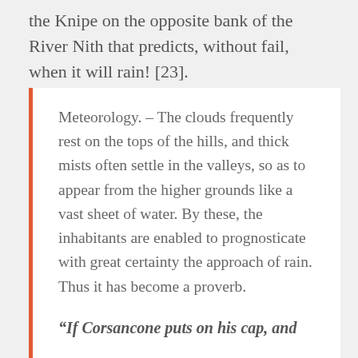the Knipe on the opposite bank of the River Nith that predicts, without fail, when it will rain! [23].
Meteorology. – The clouds frequently rest on the tops of the hills, and thick mists often settle in the valleys, so as to appear from the higher grounds like a vast sheet of water. By these, the inhabitants are enabled to prognosticate with great certainty the approach of rain. Thus it has become a proverb.
“If Corsancone puts on his cap, and